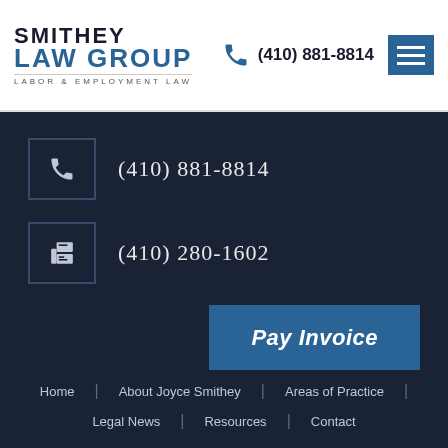SMITHEY LAW GROUP — LABOR & EMPLOYMENT LAW — (410) 881-8814
(410) 881-8814
(410) 280-1602
Pay Invoice
Home | About Joyce Smithey | Areas of Practice | Legal News | Resources | Contact